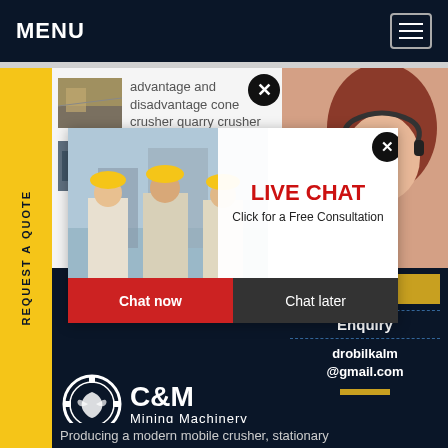MENU
advantage and disadvantage cone crusher quarry crusher
gold ore processing equipm
[Figure (screenshot): Live chat popup with workers in hard hats, red LIVE CHAT title, 'Click for a Free Consultation', Chat now and Chat later buttons]
ave any requests, ick here.
Quotation
Enquiry
drobilkalm@gmail.com
[Figure (logo): C&M Mining Machinery logo with eagle/globe icon]
Producing a modern mobile crusher, stationary